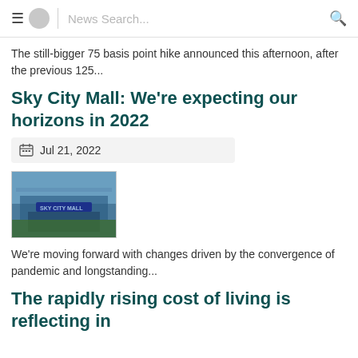News Search...
The still-bigger 75 basis point hike announced this afternoon, after the previous 125...
Sky City Mall: We're expecting our horizons in 2022
Jul 21, 2022
[Figure (photo): Exterior photo of Sky City Mall building with blue signage and green vegetation]
We're moving forward with changes driven by the convergence of pandemic and longstanding...
The rapidly rising cost of living is reflecting in